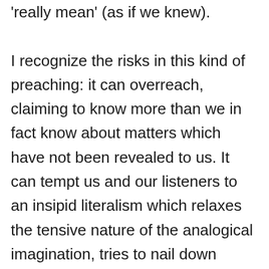'really mean' (as if we knew).

I recognize the risks in this kind of preaching: it can overreach, claiming to know more than we in fact know about matters which have not been revealed to us. It can tempt us and our listeners to an insipid literalism which relaxes the tensive nature of the analogical imagination, tries to nail down symbols which must be, if they are to have power, partially elusive, and freezes into immobility the essential dance of metaphorical speech. I think the risks are worth taking, however, because I am deeply concerned about